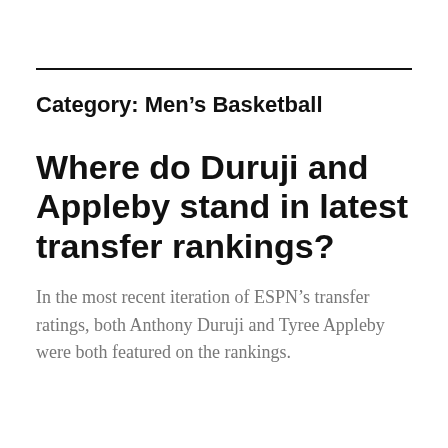Category: Men's Basketball
Where do Duruji and Appleby stand in latest transfer rankings?
In the most recent iteration of ESPN's transfer ratings, both Anthony Duruji and Tyree Appleby were both featured on the rankings.